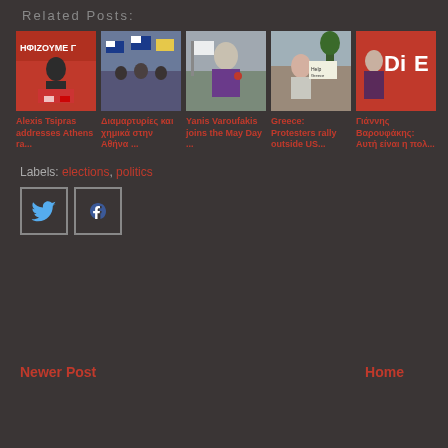Related Posts:
[Figure (photo): Alexis Tsipras at podium with red banner]
Alexis Tsipras addresses Athens ra...
[Figure (photo): Crowd with Greek flags protest]
Διαμαρτυρίες και χημικά στην Αθήνα ...
[Figure (photo): Yanis Varoufakis in purple shirt]
Yanis Varoufakis joins the May Day ...
[Figure (photo): Woman with protest sign outside US embassy]
Greece: Protesters rally outside US...
[Figure (photo): Varoufakis on red DiEM background]
Γιάννης Βαρουφάκης: Αυτή είναι η πολ...
Labels: elections, politics
[Figure (logo): Twitter share button icon]
[Figure (logo): Facebook share button icon]
Newer Post
Home